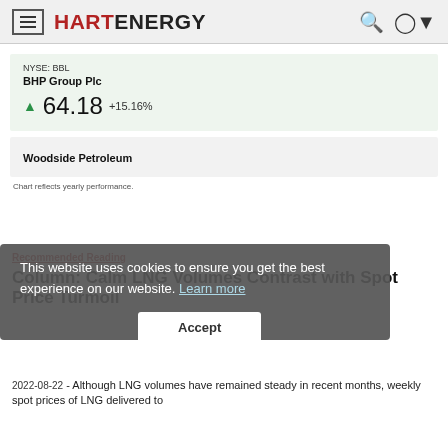HART ENERGY
NYSE: BBL
BHP Group Plc
▲ 64.18 +15.16%
Woodside Petroleum
Chart reflects yearly performance.
This website uses cookies to ensure you get the best experience on our website. Learn more
Recommended Reading
Column: Calm LNG Volumes Contrast with Spot Price Turmoil
2022-08-22 - Although LNG volumes have remained steady in recent months, weekly spot prices of LNG delivered to